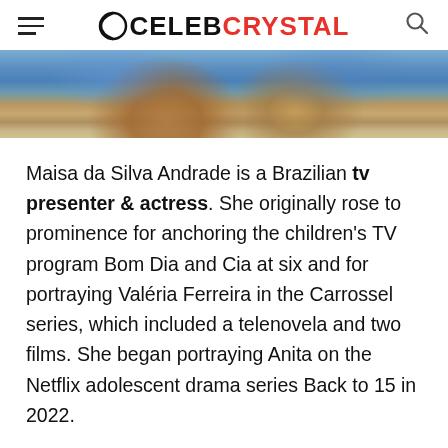CelebCrystal
[Figure (photo): Partial photo of a woman in a blue patterned outfit with reddish-brown hair, cropped to show upper body area]
Maisa da Silva Andrade is a Brazilian tv presenter & actress. She originally rose to prominence for anchoring the children's TV program Bom Dia and Cia at six and for portraying Valéria Ferreira in the Carrossel series, which included a telenovela and two films. She began portraying Anita on the Netflix adolescent drama series Back to 15 in 2022.